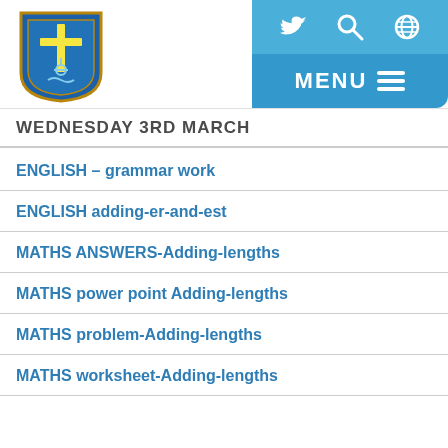[Figure (logo): St Clare's school shield logo with cross and anchor in blue and gold]
Navigation header with Twitter, Search, Globe icons and MENU button
WEDNESDAY 3RD MARCH
ENGLISH – grammar work
ENGLISH adding-er-and-est
MATHS ANSWERS-Adding-lengths
MATHS power point Adding-lengths
MATHS problem-Adding-lengths
MATHS worksheet-Adding-lengths